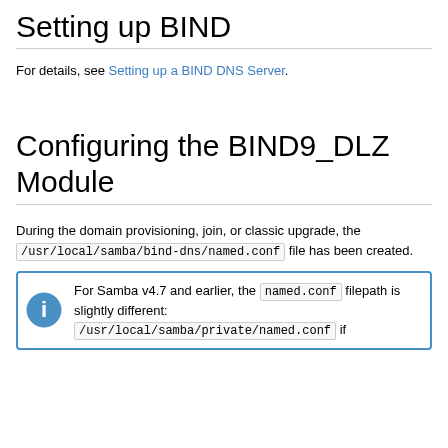Setting up BIND
For details, see Setting up a BIND DNS Server.
Configuring the BIND9_DLZ Module
During the domain provisioning, join, or classic upgrade, the /usr/local/samba/bind-dns/named.conf file has been created.
For Samba v4.7 and earlier, the named.conf filepath is slightly different: